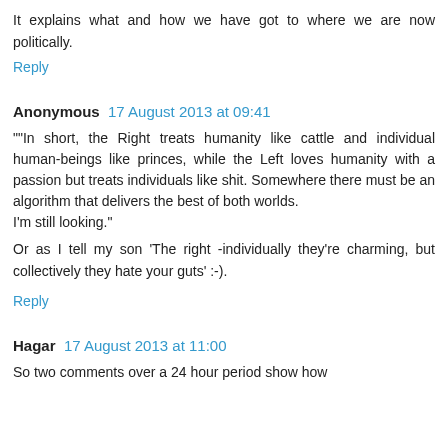It explains what and how we have got to where we are now politically.
Reply
Anonymous  17 August 2013 at 09:41
""In short, the Right treats humanity like cattle and individual human-beings like princes, while the Left loves humanity with a passion but treats individuals like shit. Somewhere there must be an algorithm that delivers the best of both worlds.
I'm still looking."

Or as I tell my son 'The right -individually they're charming, but collectively they hate your guts' :-).
Reply
Hagar  17 August 2013 at 11:00
So two comments over a 24 hour period show how